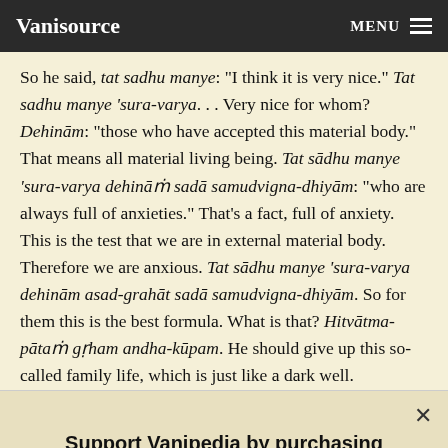Vanisource   MENU
So he said, tat sadhu manye: "I think it is very nice." Tat sadhu manye 'sura-varya. . . Very nice for whom? Dehinām: "those who have accepted this material body." That means all material living being. Tat sādhu manye 'sura-varya dehināṁ sadā samudvigna-dhiyām: "who are always full of anxieties." That's a fact, full of anxiety. This is the test that we are in external material body. Therefore we are anxious. Tat sādhu manye 'sura-varya dehinām asad-grahāt sadā samudvigna-dhiyām. So for them this is the best formula. What is that? Hitvātma-pātaṁ gṛham andha-kūpam. He should give up this so-called family life, which is just like a dark well. Hitvātma-pātam. The dark
Support Vanipedia by purchasing devotional books from our online store.
Visit Our Shop